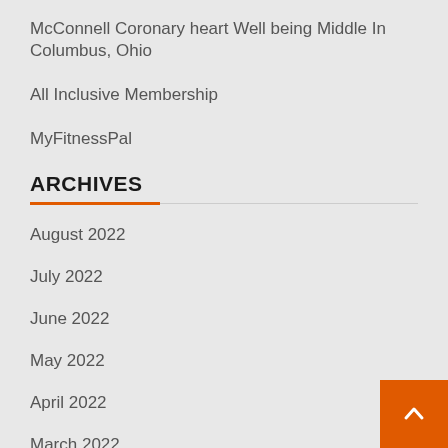McConnell Coronary heart Well being Middle In Columbus, Ohio
All Inclusive Membership
MyFitnessPal
ARCHIVES
August 2022
July 2022
June 2022
May 2022
April 2022
March 2022